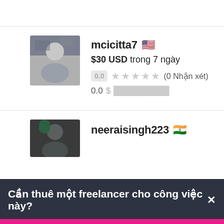[Figure (screenshot): Freelancer profile card for mcicitta7 with US flag, price $30 USD trong 7 ngày, rating 0.0 with 5 empty stars and (0 Nhận xét), score 0.0]
mcicitta7 🇺🇸
$30 USD trong 7 ngày
0.0 ★★★★★ (0 Nhận xét)
0.0 $ ██████████
[Figure (screenshot): Partially visible freelancer profile for neeraisingh223 with India flag]
neeraisingh223 🇮🇳
Cần thuê một freelancer cho công việc này? ×
Đăng dự án ngay